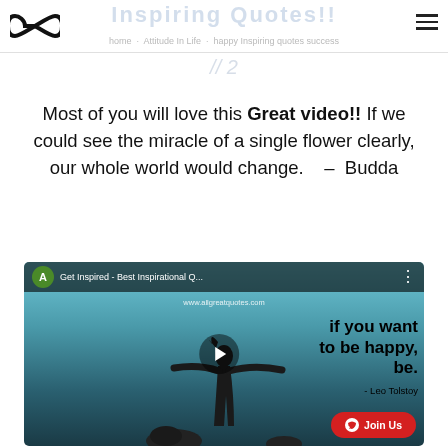Inspiring Quotes!! — home · Attitude In Life · happy Inspiring quotes success
// 2
Most of you will love this Great video!!  If we could see the miracle of a single flower clearly, our whole world would change.    –  Budda
[Figure (screenshot): Embedded YouTube-style video thumbnail showing a woman silhouette with arms spread on a beach at sunset, with text overlay 'if you want to be happy, be. - Leo Tolstoy', a green channel icon with letter A, title 'Get Inspired - Best Inspirational Q...', a play button, and a red Join Us button.]